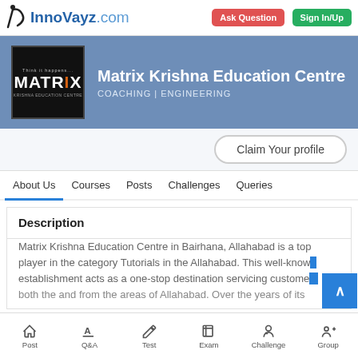InnoVayz.com | Ask Question | Sign In/Up
[Figure (screenshot): Matrix Krishna Education Centre profile banner with logo and blue background showing COACHING | ENGINEERING category]
Claim Your profile
About Us   Courses   Posts   Challenges   Queries
Description
Matrix Krishna Education Centre in Bairhana, Allahabad is a top player in the category Tutorials in the Allahabad. This well-known establishment acts as a one-stop destination servicing customers both the and from the areas of Allahabad. Over the years of its
Post   Q&A   Test   Exam   Challenge   Group